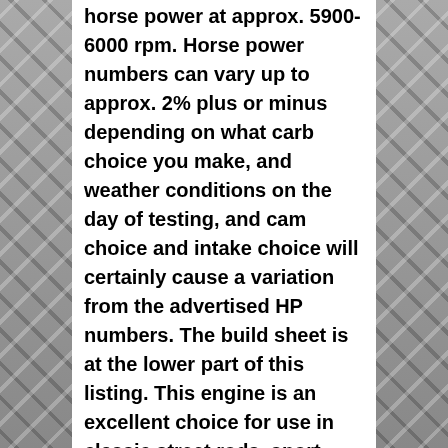horse power at approx. 5900-6000 rpm. Horse power numbers can vary up to approx. 2% plus or minus depending on what carb choice you make, and weather conditions on the day of testing, and cam choice and intake choice will certainly cause a variation from the advertised HP numbers. The build sheet is at the lower part of this listing. This engine is an excellent choice for use in classic street rods, sport trucks, 4x4 trucks, and can be used as a daily driver. High mileage use is not a problem with this engine. This is engine may also be set up